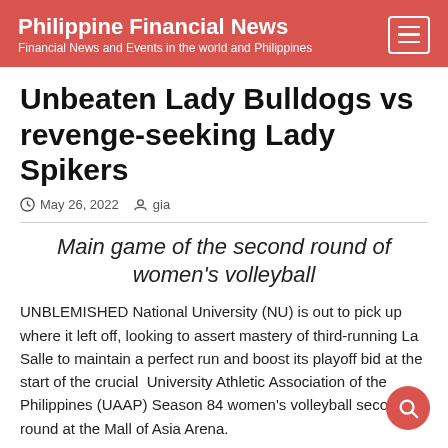Philippine Financial News
Financial News and Events in the world and Philippines
Unbeaten Lady Bulldogs vs revenge-seeking Lady Spikers
May 26, 2022  gia
Main game of the second round of women's volleyball
UNBLEMISHED National University (NU) is out to pick up where it left off, looking to assert mastery of third-running La Salle to maintain a perfect run and boost its playoff bid at the start of the crucial  University Athletic Association of the Philippines (UAAP) Season 84 women's volleyball second round at the Mall of Asia Arena.
Wiping out their first round competition with a 7-0 card for